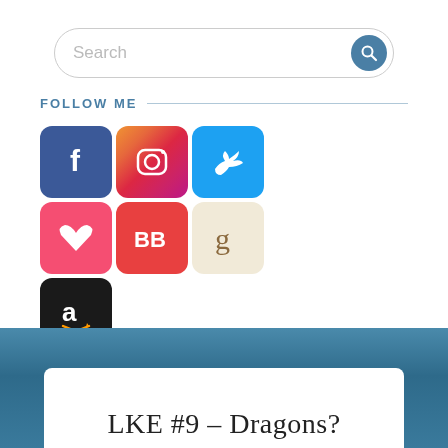[Figure (other): Search bar with rounded rectangle input and blue circular search button with magnifying glass icon]
FOLLOW ME
[Figure (infographic): Grid of 7 social media icons: Facebook (blue f), Instagram (colorful camera), Twitter (blue bird), pink heart (Bookbub?), BB red square, Goodreads beige g, Amazon black a with orange arrow]
~ Authorgraph
~ Join Newsletter
[Figure (other): Blue background banner with white card overlay showing partial title text]
LKE #9 – Dragons?